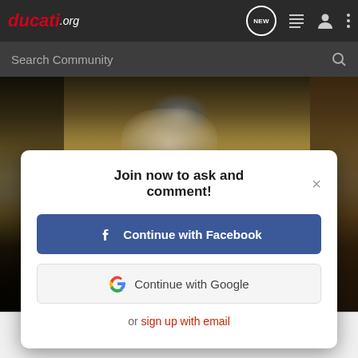ducati.org
Search Community
[Figure (screenshot): Blurred photo background showing motorcycle part detail]
Join now to ask and comment!
Continue with Facebook
Continue with Google
or sign up with email